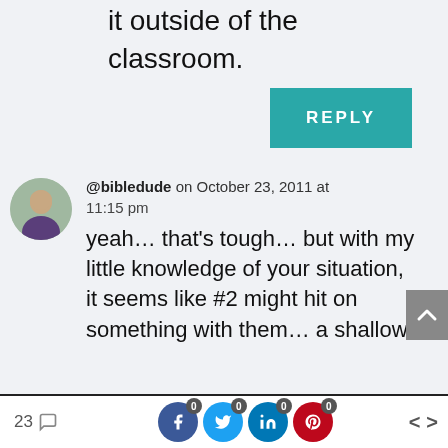it outside of the classroom.
REPLY
@bibledude on October 23, 2011 at 11:15 pm
yeah… that's tough… but with my little knowledge of your situation, it seems like #2 might hit on something with them… a shallow
23  [social share icons: Facebook 0, Twitter 0, LinkedIn 0, Pinterest 0] < >